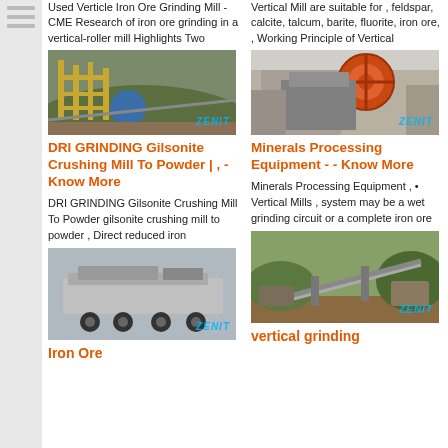Used Verticle Iron Ore Grinding Mill - CME Research of iron ore grinding in a vertical-roller mill Highlights Two
Vertical Mill are suitable for , feldspar, calcite, talcum, barite, fluorite, iron ore, , Working Principle of Vertical
[Figure (photo): Industrial mining/grinding mill facility with yellow scaffolding and blue machinery, ZENIT watermark]
[Figure (photo): Large industrial crusher or mill equipment, orange flywheel visible, gray metal structure, ZENIT watermark]
DRI GRINDING Gilsonite Crushing Mill To Powder | , - Know More
Minerals Processing Equipment - - Know More
DRI GRINDING Gilsonite Crushing Mill To Powder gilsonite crushing mill to powder , Direct reduced iron
Minerals Processing Equipment , • Vertical Mills , system may be a wet grinding circuit or a complete iron ore
[Figure (photo): Mobile crushing plant on truck/trailer chassis, ZENIT watermark]
[Figure (photo): Outdoor mining/quarry conveyor and processing facility, ZENIT watermark]
Iron Ore
vertical grinding